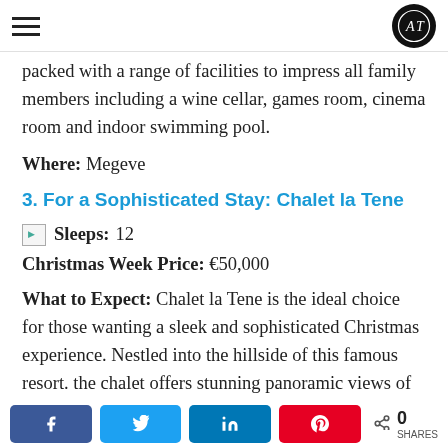AT logo and hamburger menu
packed with a range of facilities to impress all family members including a wine cellar, games room, cinema room and indoor swimming pool.
Where: Megeve
3. For a Sophisticated Stay: Chalet la Tene
Sleeps: 12
Christmas Week Price: €50,000
What to Expect: Chalet la Tene is the ideal choice for those wanting a sleek and sophisticated Christmas experience. Nestled into the hillside of this famous resort. the chalet offers stunning panoramic views of the
Social share buttons: Facebook, Twitter, LinkedIn, Pinterest. 0 SHARES